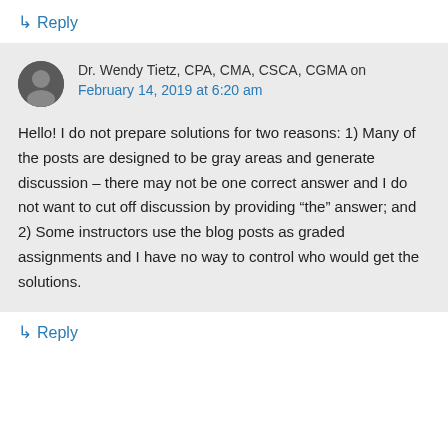↳ Reply
Dr. Wendy Tietz, CPA, CMA, CSCA, CGMA on February 14, 2019 at 6:20 am
Hello! I do not prepare solutions for two reasons: 1) Many of the posts are designed to be gray areas and generate discussion – there may not be one correct answer and I do not want to cut off discussion by providing “the” answer; and 2) Some instructors use the blog posts as graded assignments and I have no way to control who would get the solutions.
↳ Reply